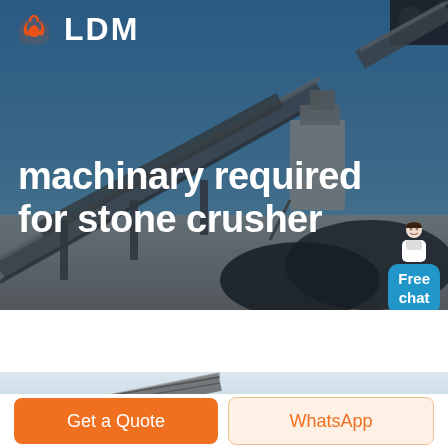[Figure (photo): Hero background photo of stone crusher conveyor belt machinery at an industrial mining site under blue sky. Dark overlay applied.]
LDM
machinary required for stone crusher
[Figure (illustration): Small chat widget with a person icon and blue bubble reading 'Free chat']
[Figure (photo): Partial second photo of conveyor belt machinery, partially visible at bottom of page.]
Get a Quote
WhatsApp